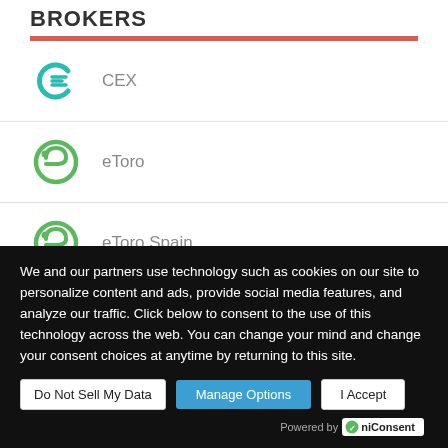BROKERS
CEX
eToro
eToro Spain
IG
We and our partners use technology such as cookies on our site to personalize content and ads, provide social media features, and analyze our traffic. Click below to consent to the use of this technology across the web. You can change your mind and change your consent choices at anytime by returning to this site.